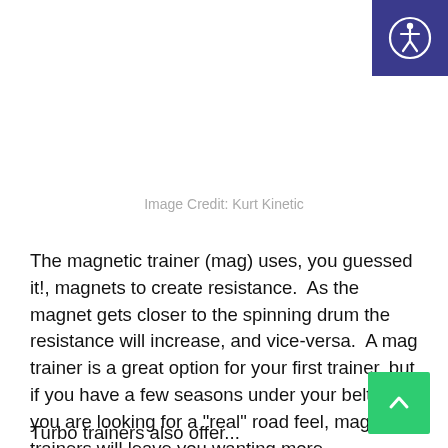[Figure (logo): Accessibility icon button — dark blue/indigo square with white wheelchair-accessible person icon, top-right corner]
Image Credit: Kurt Kinetic
The magnetic trainer (mag) uses, you guessed it!, magnets to create resistance.  As the magnet gets closer to the spinning drum the resistance will increase, and vice-versa.  A mag trainer is a great option for your first trainer, but if you have a few seasons under your belt or you are looking for a "real" road feel, mag trainers will leave you wanting more.
[Figure (other): Green scroll-to-top button with upward chevron arrow, bottom-right corner]
Turbo trainers also offer...